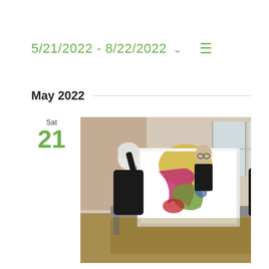5/21/2022 - 8/22/2022
May 2022
Sat
21
[Figure (photo): Two women examining a large colorful abstract painting on a print table in an art studio. One woman with white hair stands on the left, another woman stands on the right. A third person is visible in the background. The painting features bold abstract shapes in red, yellow, green, and blue on a white canvas.]